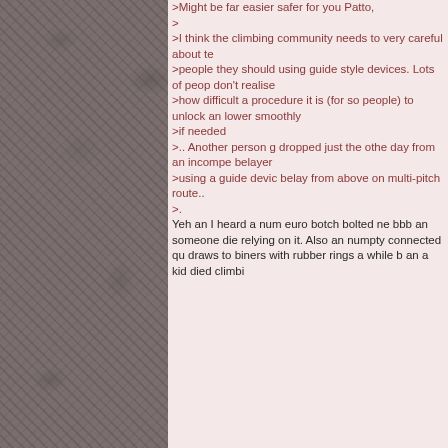[Figure (photo): Textured stone or rock wall surface, grayish-brown color, occupying the left portion of the page]
>Might be far easier safer for you Patto,
>
>I think the climbing community needs to very careful about te >people they should using guide style devices. Lots of peop don't realise >how difficult a procedure it is (for so people) to unlock an lower smoothly >if needed >.. Another person g dropped just the othe day from an incompe belayer >using a guide devic belay from above on multi-pitch route.. >.
Yeh an I heard a num euro botch bolted ne bbb an someone die relying on it. Also an numpty connected qu draws to biners with rubber rings a while b an a kid died climbi